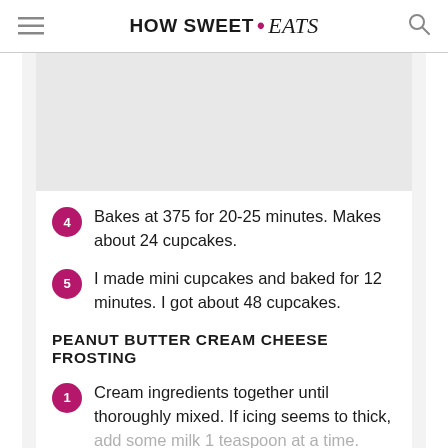HOW SWEET • eats
[Figure (photo): Gray image placeholder area at the top of the content section]
4 Bakes at 375 for 20-25 minutes. Makes about 24 cupcakes.
5 I made mini cupcakes and baked for 12 minutes. I got about 48 cupcakes.
PEANUT BUTTER CREAM CHEESE FROSTING
1 Cream ingredients together until thoroughly mixed. If icing seems to thick, add some milk 1 teaspoon at a time. Frost cupcakes or cake.